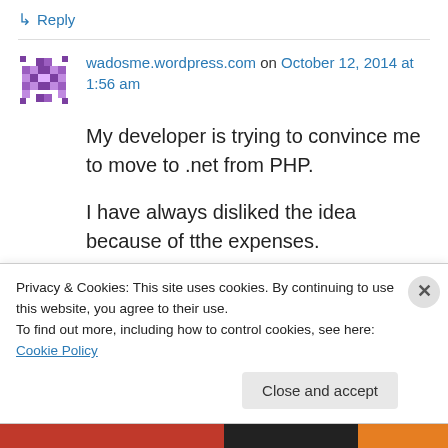↳ Reply
[Figure (illustration): Purple pixel/mosaic style avatar icon for user wadosme.wordpress.com]
wadosme.wordpress.com on October 12, 2014 at 1:56 am
My developer is trying to convince me to move to .net from PHP.
I have always disliked the idea because of tthe expenses.
But he's tryiong none the less. I've been using Movable-type
Privacy & Cookies: This site uses cookies. By continuing to use this website, you agree to their use.
To find out more, including how to control cookies, see here: Cookie Policy
Close and accept